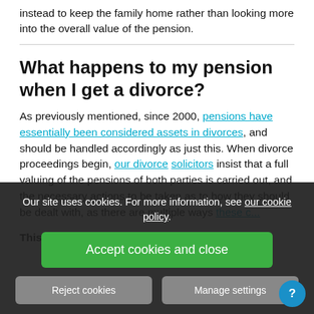instead to keep the family home rather than looking more into the overall value of the pension.
What happens to my pension when I get a divorce?
As previously mentioned, since 2000, pensions have essentially been considered assets in divorces, and should be handled accordingly as just this. When divorce proceedings begin, our divorce solicitors insist that a full valuing of the pensions of both parties is carried out, and the necessary actions to be taken as to how they should be dealt with, as there are multiple ways these can be handled.
This co...
Our site uses cookies. For more information, see our cookie policy.
Accept cookies and close
Reject cookies
Manage settings